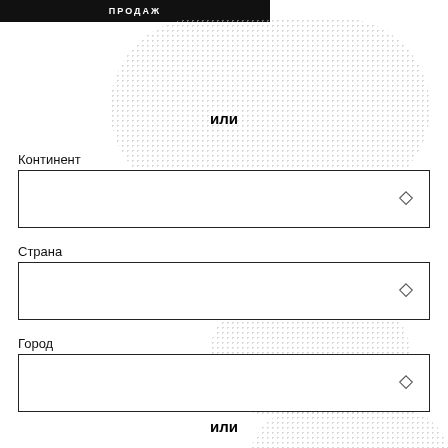ПРОДАЖ
или
Континент
[Figure (other): Dropdown selector box for Континент with diamond chevron icon]
Страна
[Figure (other): Dropdown selector box for Страна with diamond chevron icon]
Город
[Figure (other): Dropdown selector box for Город with diamond chevron icon]
или